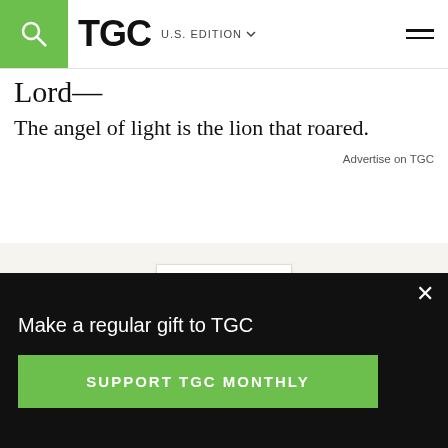TGC | U.S. EDITION
Lord—
The angel of light is the lion that roared.
Advertise on TGC
[Figure (illustration): Book cover for 'Remember Your Joy' with colorful circular icons arranged around the title, set against a beige advertisement background]
Make a regular gift to TGC
SUPPORT TGC MONTHLY